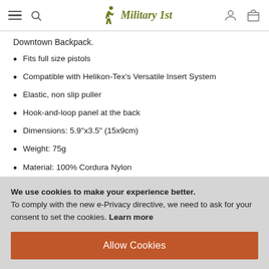Military 1st
Downtown Backpack.
Fits full size pistols
Compatible with Helikon-Tex's Versatile Insert System
Elastic, non slip puller
Hook-and-loop panel at the back
Dimensions: 5.9"x3.5" (15x9cm)
Weight: 75g
Material: 100% Cordura Nylon
Manufacturer: Helikon-Tex
We use cookies to make your experience better. To comply with the new e-Privacy directive, we need to ask for your consent to set the cookies. Learn more